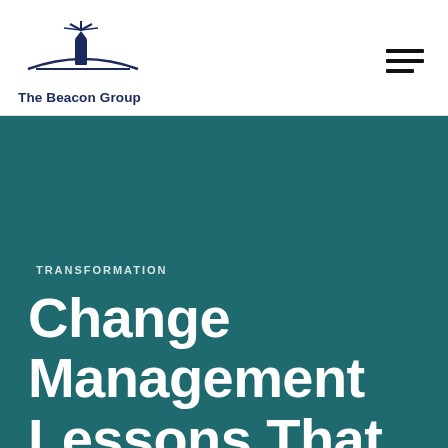[Figure (logo): The Beacon Group lighthouse logo with text 'The Beacon Group' below]
TRANSFORMATION
Change Management Lessons That Work